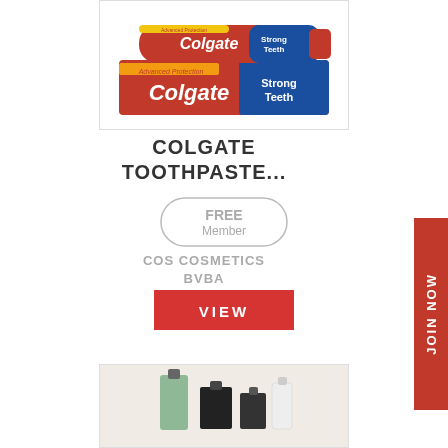[Figure (photo): Colgate Strong Teeth toothpaste product photo showing tube and box]
COLGATE TOOTHPASTE...
[Figure (other): FREE Member badge/label in rounded rectangle]
COS COSMETICS BVBA
[Figure (other): VIEW button in red]
[Figure (other): JOIN NOW vertical red sidebar button]
[Figure (photo): Perfume/cologne bottles product photo on beige background]